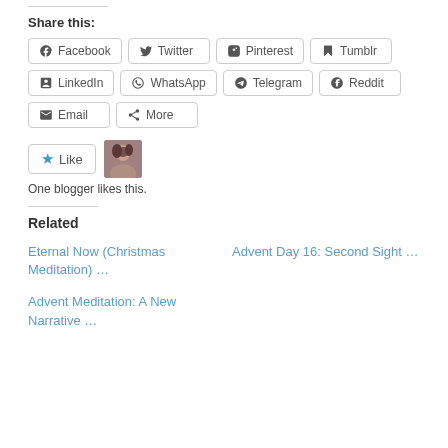Share this:
Facebook
Twitter
Pinterest
Tumblr
LinkedIn
WhatsApp
Telegram
Reddit
Email
More
[Figure (photo): Avatar photo of a blogger]
One blogger likes this.
Related
Eternal Now (Christmas Meditation) …
Advent Day 16: Second Sight …
Advent Meditation: A New Narrative …